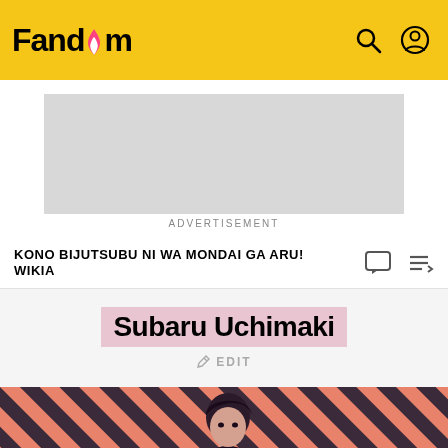Fandom
[Figure (other): Advertisement placeholder - grey rectangle]
ADVERTISEMENT
KONO BIJUTSUBU NI WA MONDAI GA ARU! WIKIA
Subaru Uchimaki
EDIT
[Figure (illustration): Character illustration of Subaru Uchimaki against a diagonal pink and dark striped background]